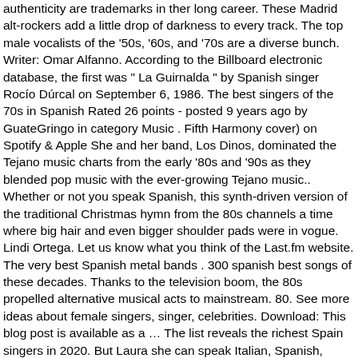authenticity are trademarks in ther long career. These Madrid alt-rockers add a little drop of darkness to every track. The top male vocalists of the '50s, '60s, and '70s are a diverse bunch. Writer: Omar Alfanno. According to the Billboard electronic database, the first was " La Guirnalda " by Spanish singer Rocío Dúrcal on September 6, 1986. The best singers of the 70s in Spanish Rated 26 points - posted 9 years ago by GuateGringo in category Music . Fifth Harmony cover) on Spotify & Apple She and her band, Los Dinos, dominated the Tejano music charts from the early '80s and '90s as they blended pop music with the ever-growing Tejano music.. Whether or not you speak Spanish, this synth-driven version of the traditional Christmas hymn from the 80s channels a time where big hair and even bigger shoulder pads were in vogue. Lindi Ortega. Let us know what you think of the Last.fm website. The very best Spanish metal bands . 300 spanish best songs of these decades. Thanks to the television boom, the 80s propelled alternative musical acts to mainstream. 80. See more ideas about female singers, singer, celebrities. Download: This blog post is available as a … The list reveals the richest Spain singers in 2020. But Laura she can speak Italian, Spanish, Porteugese, French and English. Jewish Singers; From Billy Joel to Adam Levine, many talented singers were